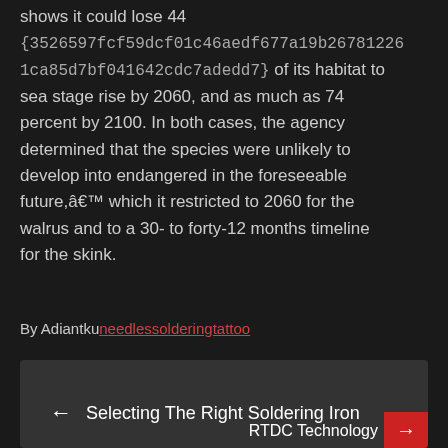shows it could lose 44 {3526597fcf59dcf01c46aedf677a19b267812261ca85d7bf041642cdc7adedd7} of its habitat to sea stage rise by 2060, and as much as 74 percent by 2100. In both cases, the agency determined that the species were unlikely to develop into endangered in the foreseeable future,â€™ which it restricted to 2060 for the walrus and to a 30- to forty-12 months timeline for the skink.
By Adiantkuneedlessolderingtattoo
← Selecting The Right Soldering Iron
RTDC Technology